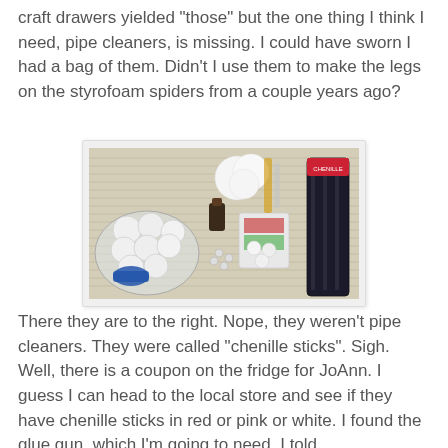craft drawers yielded "those" but the one thing I think I need, pipe cleaners, is missing. I could have sworn I had a bag of them. Didn't I use them to make the legs on the styrofoam spiders from a couple years ago?
[Figure (photo): A photo of craft supplies laid out on newspaper, including styrofoam balls in a bag, cotton balls, small bottles of paint or glue, beads, decorative picks, and a package of black chenille sticks.]
There they are to the right. Nope, they weren't pipe cleaners. They were called "chenille sticks". Sigh. Well, there is a coupon on the fridge for JoAnn. I guess I can head to the local store and see if they have chenille sticks in red or pink or white. I found the glue gun, which I'm going to need. I told